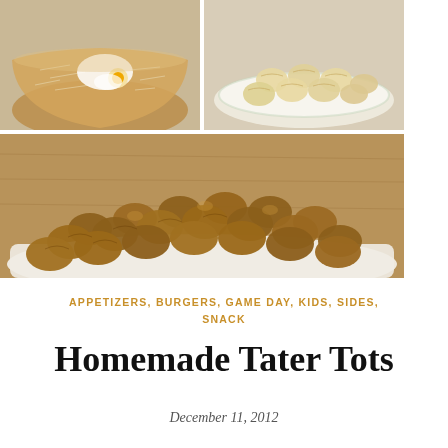[Figure (photo): Top-left photo: a mixing bowl with shredded potato, flour, and a raw egg]
[Figure (photo): Top-right photo: raw shaped tater tot balls on a white plate]
[Figure (photo): Bottom photo: a large pile of golden-brown cooked homemade tater tots on a white plate]
APPETIZERS, BURGERS, GAME DAY, KIDS, SIDES, SNACK
Homemade Tater Tots
December 11, 2012